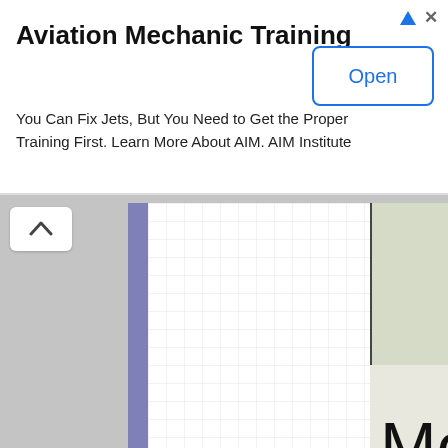[Figure (screenshot): Advertisement banner for Aviation Mechanic Training by AIM Institute with an Open button]
[Figure (screenshot): Partial calendar screenshot showing grid paper on left, and calendar cells with 'Monday' and 'Dec' text visible on the right]
Choose Your Units
If you work with U.S. paper sizes and have an affection for inches, and “Letter” sized paper, this one’s for you: